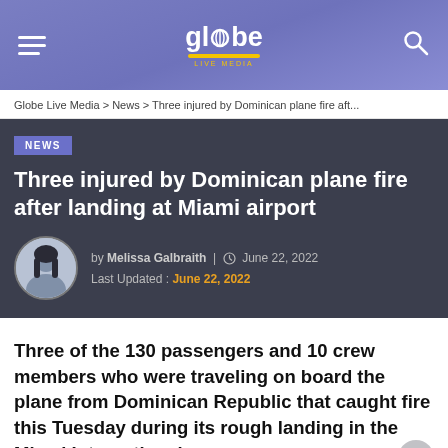gl●be [logo] [hamburger menu] [search icon]
Globe Live Media > News > Three injured by Dominican plane fire aft...
NEWS
Three injured by Dominican plane fire after landing at Miami airport
by Melissa Galbraith | June 22, 2022
Last Updated: June 22, 2022
Three of the 130 passengers and 10 crew members who were traveling on board the plane from Dominican Republic that caught fire this Tuesday during its rough landing in the Miami International